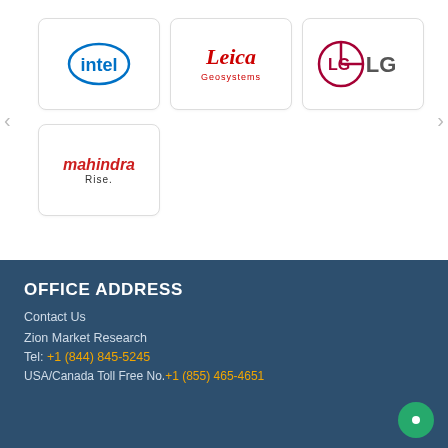[Figure (logo): Intel logo - blue circle with intel text]
[Figure (logo): Leica Geosystems logo - red cursive Leica with Geosystems below]
[Figure (logo): LG logo - dark red circle LG symbol with LG text]
[Figure (logo): Mahindra Rise logo - red italic Mahindra with Rise below]
OFFICE ADDRESS
Contact Us
Zion Market Research
Tel: +1 (844) 845-5245
USA/Canada Toll Free No.+1 (855) 465-4651